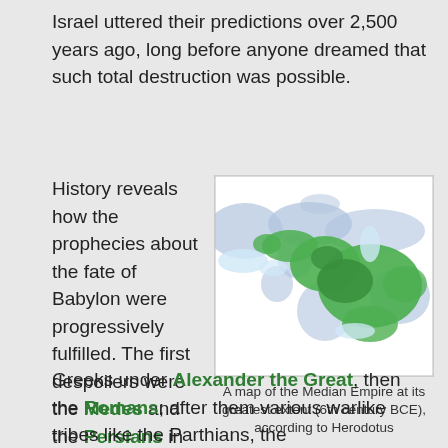Israel uttered their predictions over 2,500 years ago, long before anyone dreamed that such total destruction was possible.
History reveals how the prophecies about the fate of Babylon were progressively fulfilled. The first despoilers were the Medes and the Persians in the 6th century BCE. From that time the glory of Babylon began to fade. Then came the Greeks under Alexander the Great, then the Romans; after them various warlike tribes like the Parthians, the
[Figure (map): A map showing the Median Empire at its greatest extent in the 6th century BCE according to Herodotus. The map shows a region covering parts of the Middle East and Central Asia highlighted in green, with surrounding territories in light blue.]
A map of the Median Empire at its greatest extent (6th century BCE), according to Herodotus